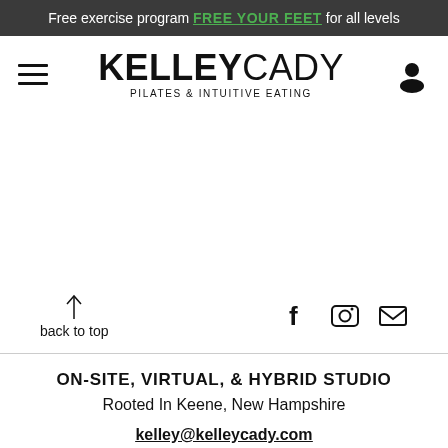Free exercise program FREE YOUR FEET for all levels
[Figure (logo): Kelley Cady Pilates & Intuitive Eating logo with hamburger menu and user icon]
[Figure (infographic): Back to top arrow with social icons: Facebook, Instagram, Email]
ON-SITE, VIRTUAL, & HYBRID STUDIO
Rooted In Keene, New Hampshire
kelley@kelleycady.com
[Figure (map): Partial map showing Robin label area]